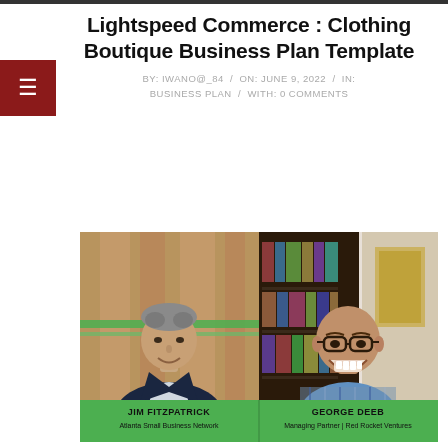Lightspeed Commerce : Clothing Boutique Business Plan Template
BY: IWANO@_84  /  ON: JUNE 9, 2022  /  IN: BUSINESS PLAN  /  WITH: 0 COMMENTS
[Figure (photo): Split-screen video interview. Left: JIM FITZPATRICK, Atlanta Small Business Network. Right: GEORGE DEEB, Managing Partner | Red Rocket Ventures. Both men smiling; green lower-third bar with their names and titles.]